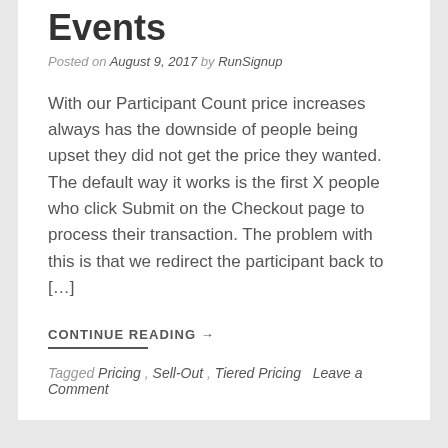Events
Posted on August 9, 2017 by RunSignup
With our Participant Count price increases always has the downside of people being upset they did not get the price they wanted. The default way it works is the first X people who click Submit on the Checkout page to process their transaction. The problem with this is that we redirect the participant back to […]
CONTINUE READING →
Tagged Pricing , Sell-Out , Tiered Pricing   Leave a Comment